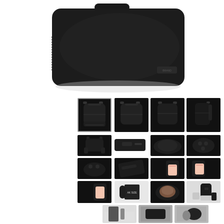[Figure (photo): Large hero photo of a black backpack/bag viewed from the top-front angle, showing minimalist design on white background]
[Figure (photo): Grid of product photos showing a black backpack from multiple angles: front (selected/highlighted), front-center, front-right, side; then back straps, label detail, zipper close-up, emblem close-up; then zipper pull, strap detail, side pocket with phone, another side pocket with phone; then interior pocket with phone, size comparison box, open interior, contents display; then partial row of lifestyle/context photos]